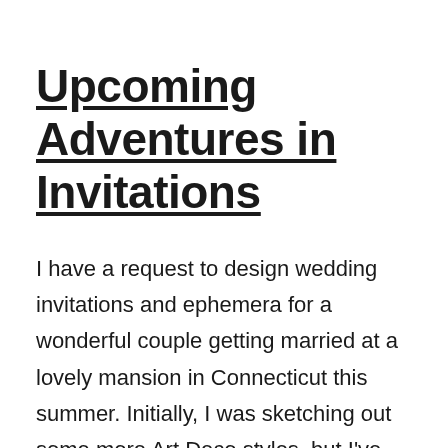Upcoming Adventures in Invitations
I have a request to design wedding invitations and ephemera for a wonderful couple getting married at a lovely mansion in Connecticut this summer. Initially, I was sketching out some more Art Deco styles, but I've come to find out that the bride is inspired by Sabrina (Audrey Hepburn, not the Teenage Witch) so I'm trying some floral ideas inspired by the iconic dress